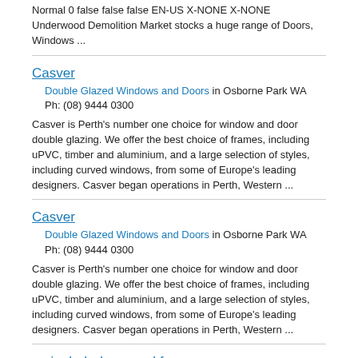Normal 0 false false false EN-US X-NONE X-NONE Underwood Demolition Market stocks a huge range of Doors, Windows ...
Casver
Double Glazed Windows and Doors in Osborne Park WA    Ph: (08) 9444 0300
Casver is Perth's number one choice for window and door double glazing. We offer the best choice of frames, including uPVC, timber and aluminium, and a large selection of styles, including curved windows, from some of Europe's leading designers. Casver began operations in Perth, Western ...
Casver
Double Glazed Windows and Doors in Osborne Park WA    Ph: (08) 9444 0300
Casver is Perth's number one choice for window and door double glazing. We offer the best choice of frames, including uPVC, timber and aluminium, and a large selection of styles, including curved windows, from some of Europe's leading designers. Casver began operations in Perth, Western ...
caringbah doors and f rames
Doors and Window in NSW    Ph: 0417 999 620
Caringbah Doors and Frames supply and service commercial, industrial and residential structures in Sydney with door installation, timber windows frames, metal door frames and complete range of hardware installation like ...